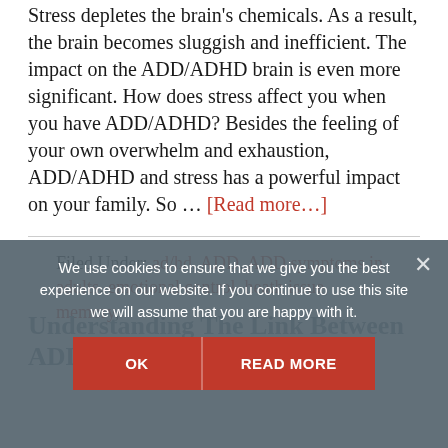Stress depletes the brain's chemicals. As a result, the brain becomes sluggish and inefficient. The impact on the ADD/ADHD brain is even more significant. How does stress affect you when you have ADD/ADHD? Besides the feeling of your own overwhelm and exhaustion, ADD/ADHD and stress has a powerful impact on your family. So … [Read more...]
Filed Under: ad/hd, ADD, ADD symptoms in adults, emotional control, heath issue, memory,
We use cookies to ensure that we give you the best experience on our website. If you continue to use this site we will assume that you are happy with it.
Understanding The Link Between ADD/ADHD And Dyslexia